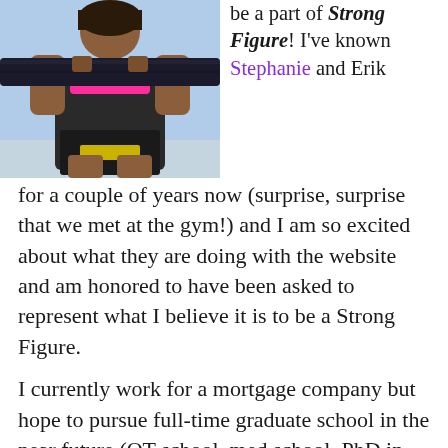[Figure (photo): Woman in pink athletic top and dark shorts carrying a large heavy beam/log during what appears to be an obstacle race or fitness competition, outdoors with bright sky background.]
be a part of Strong Figure! I've known Stephanie and Erik for a couple of years now (surprise, surprise that we met at the gym!) and I am so excited about what they are doing with the website and am honored to have been asked to represent what I believe it is to be a Strong Figure.
I currently work for a mortgage company but hope to pursue full-time graduate school in the near future (OT school, med school, PhD in Health Psychology... not sure yet!). I've been active my entire life...